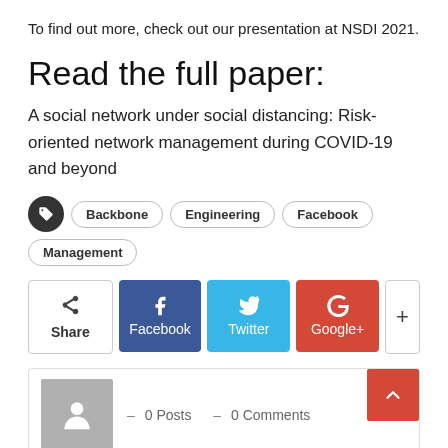To find out more, check out our presentation at NSDI 2021.
Read the full paper:
A social network under social distancing: Risk-oriented network management during COVID-19 and beyond
Tags: Backbone, Engineering, Facebook, Management
[Figure (other): Share buttons row: Share, Facebook, Twitter, Google+, and a plus button]
– 0 Posts   – 0 Comments